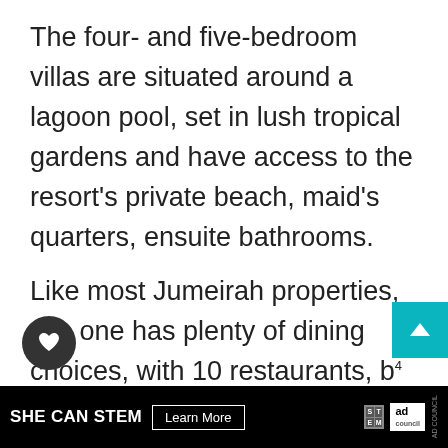The four- and five-bedroom villas are situated around a lagoon pool, set in lush tropical gardens and have access to the resort's private beach, maid's quarters, ensuite bathrooms.
Like most Jumeirah properties, this one has plenty of dining choices, with 10 restaurants, bars and lounges.
a 20th-century royal Ottoman cuisine inspired restaurant that serves up a variety of Turkish cuisine prepared with a contemporary
[Figure (screenshot): Web page UI elements: heart/favorite button (dark circle), teal scroll-to-top arrow button, share button, 'WHAT'S NEXT' navigation bar with thumbnail image, and bottom ad banner reading 'SHE CAN STEM Learn More' with Ad Council logo]